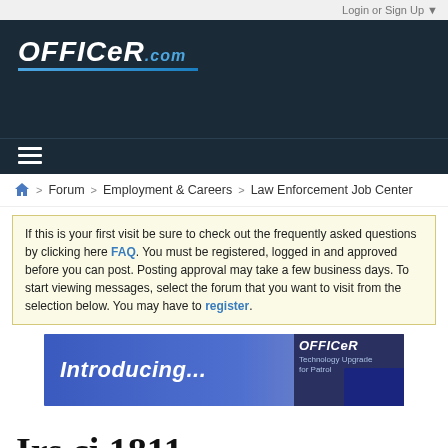Login or Sign Up ▼
[Figure (logo): Officer.com logo on dark navy background with hamburger menu icon]
Forum > Employment & Careers > Law Enforcement Job Center
If this is your first visit be sure to check out the frequently asked questions by clicking here FAQ. You must be registered, logged in and approved before you can post. Posting approval may take a few business days. To start viewing messages, select the forum that you want to visit from the selection below. You may have to register.
[Figure (screenshot): Banner advertisement showing 'Introducing...' text with Officer.com Technology Upgrade for Patrol branding]
Irs ci 1811